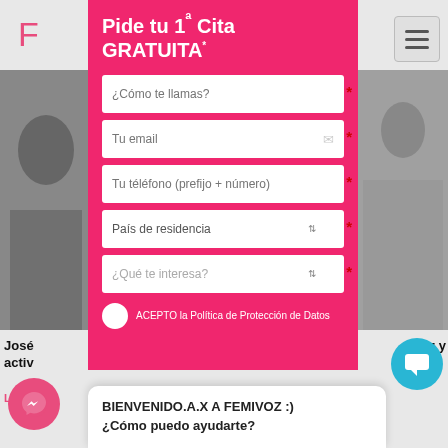Pide tu 1ª Cita GRATUITA*
[Figure (screenshot): Web form modal with pink background for booking a free appointment on Femivoz website. Contains fields: ¿Cómo te llamas?, Tu email, Tu téléfono (prefijo + número), País de residencia (dropdown), ¿Qué te interesa? (dropdown), checkbox for ACEPTO la Política de Protección de Datos. Background shows grayscale photos and website header.]
¿Cómo te llamas?
Tu email
Tu téléfono (prefijo + número)
País de residencia
¿Qué te interesa?
ACEPTO la Política de Protección de Datos
José…iz y activ…
BIENVENIDO.A.X A FEMIVOZ :)
¿Cómo puedo ayudarte?